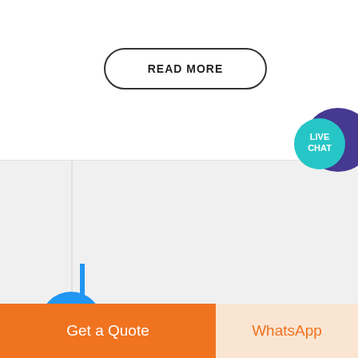READ MORE
[Figure (illustration): Live chat speech bubble icon with teal circle and purple chat bubble, text 'LIVE CHAT']
AUTOMATIC POWDER GRINDER CORN MACHINERY FOR SALE CHINA ...
[Figure (photo): Industrial factory interior showing large corn grinding machinery with metal framework, conveyors, and cylindrical tanks in a warehouse setting]
Get a Quote
WhatsApp